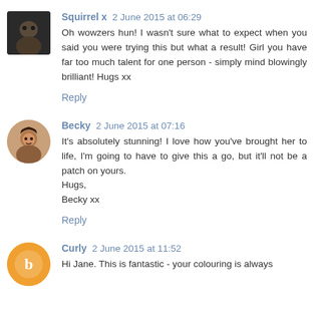Squirrel x 2 June 2015 at 06:29
Oh wowzers hun! I wasn't sure what to expect when you said you were trying this but what a result! Girl you have far too much talent for one person - simply mind blowingly brilliant! Hugs xx
Reply
Becky 2 June 2015 at 07:16
It's absolutely stunning! I love how you've brought her to life, I'm going to have to give this a go, but it'll not be a patch on yours.
Hugs,
Becky xx
Reply
Curly 2 June 2015 at 11:52
Hi Jane. This is fantastic - your colouring is always